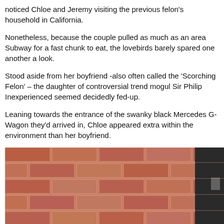noticed Chloe and Jeremy visiting the previous felon's household in California.
Nonetheless, because the couple pulled as much as an area Subway for a fast chunk to eat, the lovebirds barely spared one another a look.
Stood aside from her boyfriend -also often called the ‘Scorching Felon’ – the daughter of controversial trend mogul Sir Philip Inexperienced seemed decidedly fed-up.
Leaning towards the entrance of the swanky black Mercedes G-Wagon they’d arrived in, Chloe appeared extra within the environment than her boyfriend.
[Figure (photo): Photograph of a red brick wall with a dark door or frame visible on the right side.]